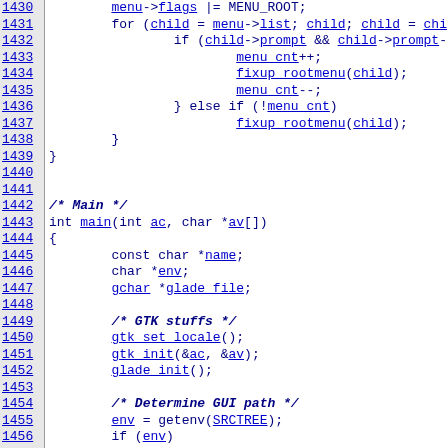[Figure (screenshot): Source code listing in C with line numbers 1430-1460, showing menu root flags, a for loop with child nodes, fixup_rootmenu calls, and main function with GTK initialization and glade file path determination.]